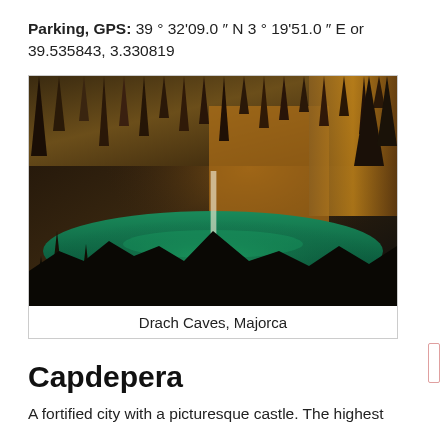Parking, GPS: 39 ° 32'09.0 ″ N 3 ° 19'51.0 ″ E or 39.535843, 3.330819
[Figure (photo): Interior of Drach Caves in Majorca showing stalactites hanging from the ceiling, a green-lit underground lake, and dramatic cave formations illuminated with warm and cool lighting.]
Drach Caves, Majorca
Capdepera
A fortified city with a picturesque castle. The highest